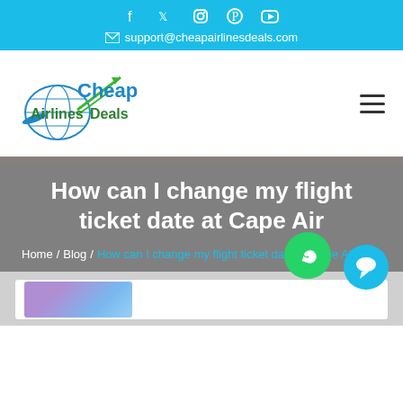Social icons and support@cheapairlinesdeals.com
[Figure (logo): Cheap Airlines Deals logo with globe and airplane graphic]
How can I change my flight ticket date at Cape Air
Home / Blog / How can I change my flight ticket date at Cape Air
[Figure (photo): Partial view of a blog post card with a purple/blue image at the bottom of the page]